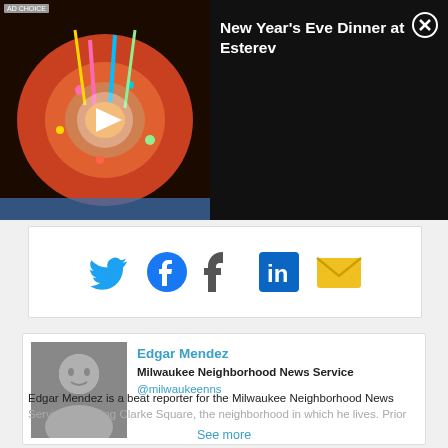[Figure (screenshot): Video ad overlay showing a colorful food item (donut/pizza) on black background with play button, labeled 'New Year's Eve Dinner at Esterev' with a close (X) button]
[Figure (infographic): Social share bar with Twitter, Facebook, Tumblr, LinkedIn, and Email icons]
Edgar Mendez
Milwaukee Neighborhood News Service
@milwaukeenns
Edgar Mendez is a beat reporter for the Milwaukee Neighborhood News Service, covering Clarke Square, the neighborhood in which he lives. Prior
See more